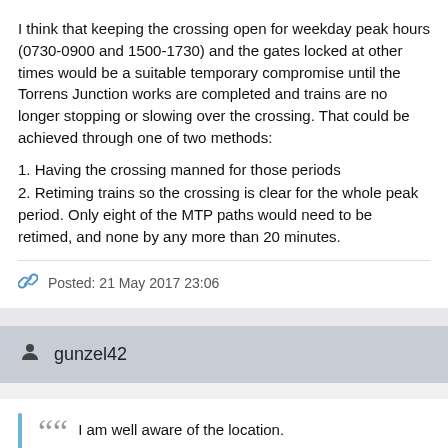I think that keeping the crossing open for weekday peak hours (0730-0900 and 1500-1730) and the gates locked at other times would be a suitable temporary compromise until the Torrens Junction works are completed and trains are no longer stopping or slowing over the crossing. That could be achieved through one of two methods:
1. Having the crossing manned for those periods
2. Retiming trains so the crossing is clear for the whole peak period. Only eight of the MTP paths would need to be retimed, and none by any more than 20 minutes.
Posted: 21 May 2017 23:06
gunzel42
I am well aware of the location.